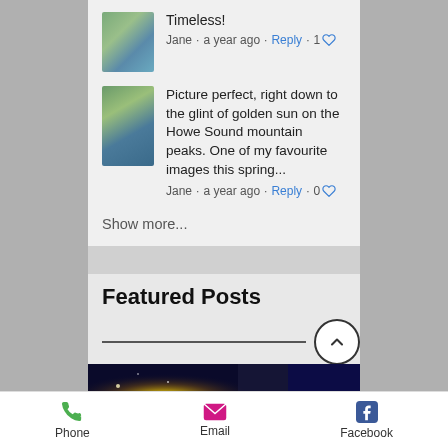Timeless!
Jane · a year ago · Reply · 1 ♡
Picture perfect, right down to the glint of golden sun on the Howe Sound mountain peaks. One of my favourite images this spring...
Jane · a year ago · Reply · 0 ♡
Show more...
Featured Posts
[Figure (photo): Featured post image showing fireworks or light sparkles against a dark night background]
Phone
Email
Facebook